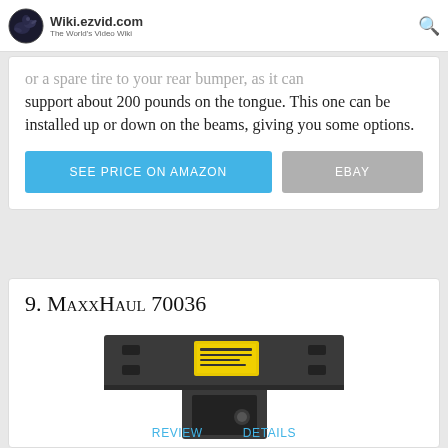Wiki.ezvid.com – The World's Video Wiki
or a spare tire to your rear bumper, as it can support about 200 pounds on the tongue. This one can be installed up or down on the beams, giving you some options.
SEE PRICE ON AMAZON | EBAY
9. MaxxHaul 70036
[Figure (photo): Photo of the MaxxHaul 70036 trailer hitch mount, showing a flat black metal plate with mounting holes and a square receiver tube, with a yellow warning label on top.]
REVIEW   DETAILS